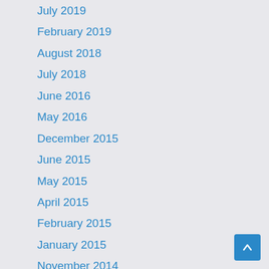July 2019
February 2019
August 2018
July 2018
June 2016
May 2016
December 2015
June 2015
May 2015
April 2015
February 2015
January 2015
November 2014
January 2012
September 2011